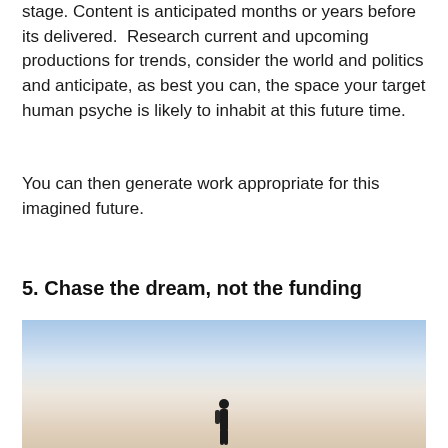stage. Content is anticipated months or years before its delivered.  Research current and upcoming productions for trends, consider the world and politics and anticipate, as best you can, the space your target human psyche is likely to inhabit at this future time.
You can then generate work appropriate for this imagined future.
5. Chase the dream, not the funding
[Figure (photo): A person standing on a flat surface against a gradient sky background transitioning from light blue at the top to warm peach/golden tones at the bottom. A small silhouetted figure stands near the center-bottom of the image.]